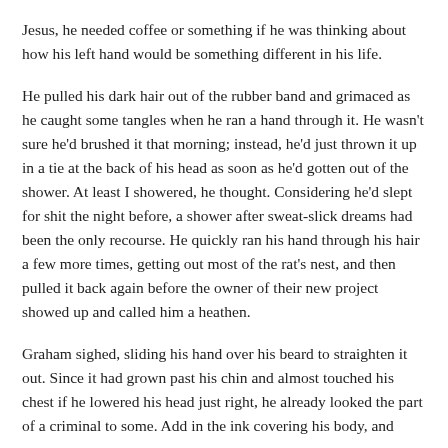Jesus, he needed coffee or something if he was thinking about how his left hand would be something different in his life.
He pulled his dark hair out of the rubber band and grimaced as he caught some tangles when he ran a hand through it. He wasn't sure he'd brushed it that morning; instead, he'd just thrown it up in a tie at the back of his head as soon as he'd gotten out of the shower. At least I showered, he thought. Considering he'd slept for shit the night before, a shower after sweat-slick dreams had been the only recourse. He quickly ran his hand through his hair a few more times, getting out most of the rat's nest, and then pulled it back again before the owner of their new project showed up and called him a heathen.
Graham sighed, sliding his hand over his beard to straighten it out. Since it had grown past his chin and almost touched his chest if he lowered his head just right, he already looked the part of a criminal to some. Add in the ink covering his body, and